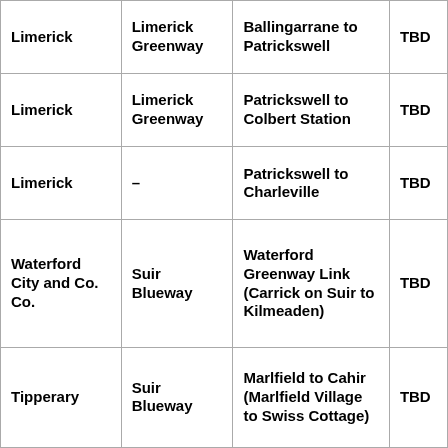| Limerick | Limerick Greenway | Ballingarrane to Patrickswell | TBD |
| Limerick | Limerick Greenway | Patrickswell to Colbert Station | TBD |
| Limerick | – | Patrickswell to Charleville | TBD |
| Waterford City and Co. Co. | Suir Blueway | Waterford Greenway Link (Carrick on Suir to Kilmeaden) | TBD |
| Tipperary | Suir Blueway | Marlfield to Cahir (Marlfield Village to Swiss Cottage) | TBD |